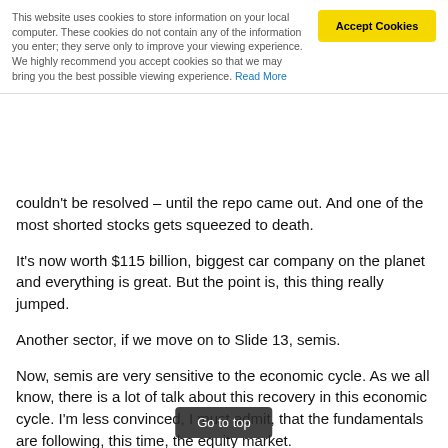This website uses cookies to store information on your local computer. These cookies do not contain any of the information you enter; they serve only to improve your viewing experience. We highly recommend you accept cookies so that we may bring you the best possible viewing experience. Read More
couldn't be resolved – until the repo came out. And one of the most shorted stocks gets squeezed to death.
It's now worth $115 billion, biggest car company on the planet and everything is great. But the point is, this thing really jumped.
Another sector, if we move on to Slide 13, semis.
Now, semis are very sensitive to the economic cycle. As we all know, there is a lot of talk about this recovery in this economic cycle. I'm less convinced, I must admit, that the fundamentals are following, this time, the equity market.
But, nonetheless, we can see how the SOX, or the semiconductor index (in blue here) has just exploded away from the underlying fundamentals, heavily driven by names like AMD, which I do think a classic bubble. And we'll come to it